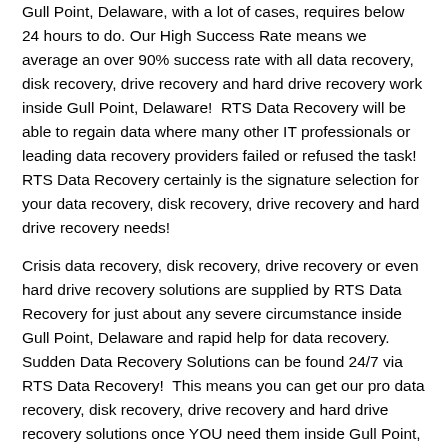Gull Point, Delaware, with a lot of cases, requires below 24 hours to do. Our High Success Rate means we average an over 90% success rate with all data recovery, disk recovery, drive recovery and hard drive recovery work inside Gull Point, Delaware!  RTS Data Recovery will be able to regain data where many other IT professionals or leading data recovery providers failed or refused the task!  RTS Data Recovery certainly is the signature selection for your data recovery, disk recovery, drive recovery and hard drive recovery needs!
Crisis data recovery, disk recovery, drive recovery or even hard drive recovery solutions are supplied by RTS Data Recovery for just about any severe circumstance inside Gull Point, Delaware and rapid help for data recovery. Sudden Data Recovery Solutions can be found 24/7 via RTS Data Recovery!  This means you can get our pro data recovery, disk recovery, drive recovery and hard drive recovery solutions once YOU need them inside Gull Point, Delaware.